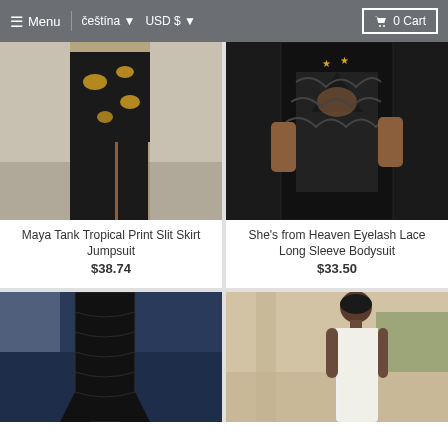≡ Menu  čeština ▾  USD $ ▾  🛒 0 Cart
[Figure (photo): Woman wearing a black and gold tropical print slit skirt jumpsuit, standing indoors on a grey floor.]
Maya Tank Tropical Print Slit Skirt Jumpsuit
$38.74
[Figure (photo): Close-up of a woman wearing a black eyelash lace long sleeve bodysuit with a deep v-neckline.]
She's from Heaven Eyelash Lace Long Sleeve Bodysuit
$33.50
[Figure (photo): Woman wearing black lace flare pants, seated near a blue velvet couch.]
[Figure (photo): Woman in a white sleeveless form-fitting midi dress, standing outdoors.]